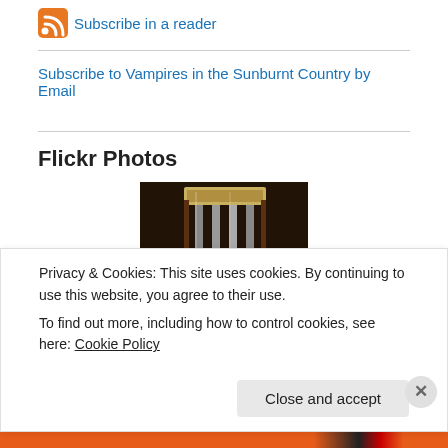Subscribe in a reader
Subscribe to Vampires in the Sunburnt Country by Email
Flickr Photos
[Figure (photo): A photo of a wooden antique item with vertical metal bars, appearing to be some kind of decorative or functional box, displayed in a store or museum setting.]
More Photos
Privacy & Cookies: This site uses cookies. By continuing to use this website, you agree to their use.
To find out more, including how to control cookies, see here: Cookie Policy
Close and accept